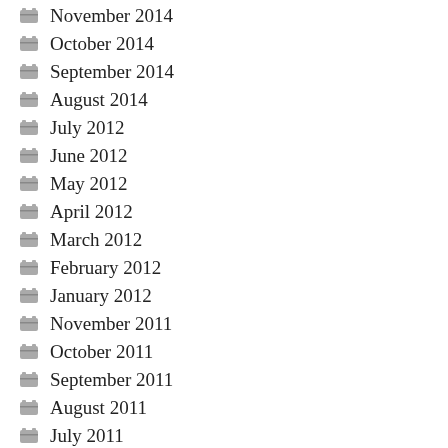November 2014
October 2014
September 2014
August 2014
July 2012
June 2012
May 2012
April 2012
March 2012
February 2012
January 2012
November 2011
October 2011
September 2011
August 2011
July 2011
June 2011
May 2011